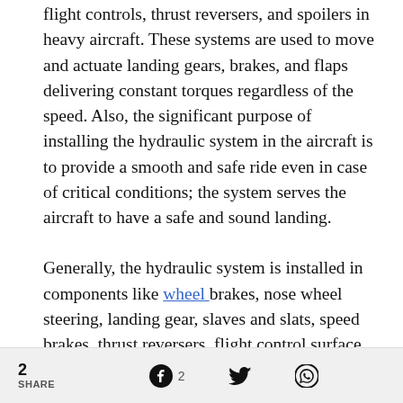flight controls, thrust reversers, and spoilers in heavy aircraft. These systems are used to move and actuate landing gears, brakes, and flaps delivering constant torques regardless of the speed. Also, the significant purpose of installing the hydraulic system in the aircraft is to provide a smooth and safe ride even in case of critical conditions; the system serves the aircraft to have a safe and sound landing.
Generally, the hydraulic system is installed in components like wheel brakes, nose wheel steering, landing gear, slaves and slats, speed brakes, thrust reversers, flight control surface, cargo doors, windshield wipes, propeller pitch control, and other controls depending on
2 SHARE  [Facebook icon] 2  [Twitter icon]  [WhatsApp icon]